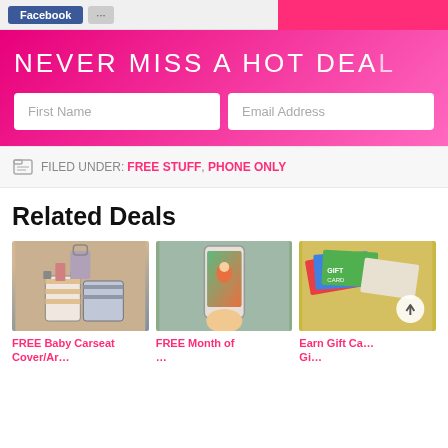NEVER MISS A HOT DEAL — First Name, Email Address signup banner
FILED UNDER: FREE STUFF, PHONE ONLY
Related Deals
[Figure (photo): Person standing on luggage with patterned suitcases]
FREE Baby Carseat Cover/Ar...
[Figure (photo): Hand holding a smartphone showing a colorful app screen]
FREE Month of ...
[Figure (photo): Various gift cards spread out on a surface]
Earn Gift Ca...